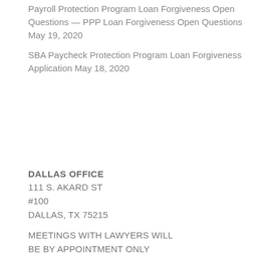Payroll Protection Program Loan Forgiveness Open Questions — PPP Loan Forgiveness Open Questions May 19, 2020
SBA Paycheck Protection Program Loan Forgiveness Application May 18, 2020
DALLAS OFFICE
111 S. AKARD ST
#100
DALLAS, TX 75215
MEETINGS WITH LAWYERS WILL BE BY APPOINTMENT ONLY